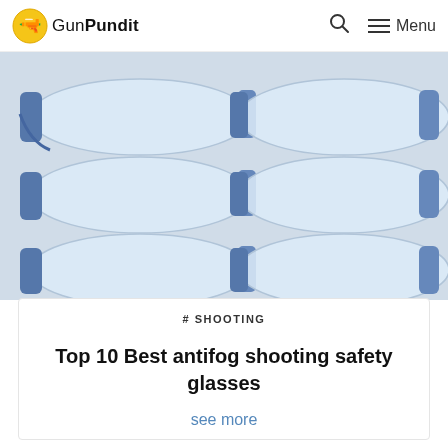GunPundit — Menu
[Figure (photo): Multiple blue and clear shooting safety glasses arranged in two columns against a white/light background]
# SHOOTING
Top 10 Best antifog shooting safety glasses
see more